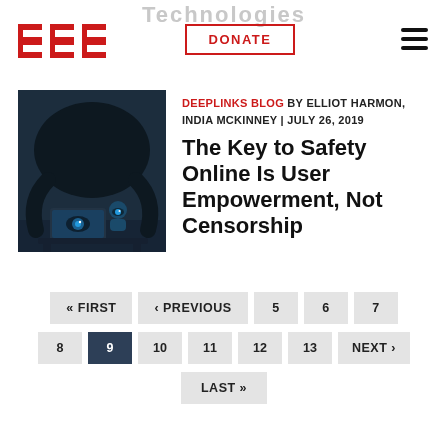Technologies
[Figure (logo): EFF (Electronic Frontier Foundation) red logo with three E shapes]
DONATE
[Figure (illustration): Dark illustration of a surveillance figure watching over a person at a laptop with an eye symbol]
DEEPLINKS BLOG BY ELLIOT HARMON, INDIA MCKINNEY | JULY 26, 2019
The Key to Safety Online Is User Empowerment, Not Censorship
« FIRST ‹ PREVIOUS 5 6 7 8 9 10 11 12 13 NEXT › LAST »